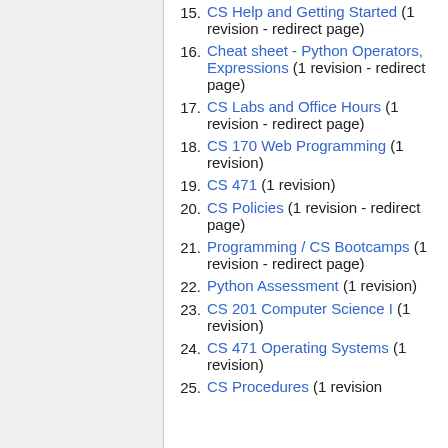15. CS Help and Getting Started (1 revision - redirect page)
16. Cheat sheet - Python Operators, Expressions (1 revision - redirect page)
17. CS Labs and Office Hours (1 revision - redirect page)
18. CS 170 Web Programming (1 revision)
19. CS 471 (1 revision)
20. CS Policies (1 revision - redirect page)
21. Programming / CS Bootcamps (1 revision - redirect page)
22. Python Assessment (1 revision)
23. CS 201 Computer Science I (1 revision)
24. CS 471 Operating Systems (1 revision)
25. CS Procedures (1 revision